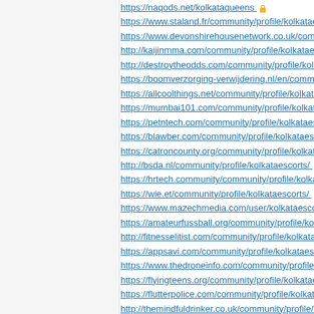https://naqods.net/kolkataqueens 🔒
https://www.staland.fr/community/profile/kolkataes...
https://www.devonshirehousenetwork.co.uk/comm...
http://kaijinmma.com/community/profile/kolkataes...
http://destroytheodds.com/community/profile/kolka...
https://boomverzorging-verwijdering.nl/en/commu...
https://allcoolthings.net/community/profile/kolkata...
https://mumbai101.com/community/profile/kolkata...
https://petntech.com/community/profile/kolkataes...
https://blawber.com/community/profile/kolkataesc...
https://catroncounty.org/community/profile/kolkata...
http://bsda.nl/community/profile/kolkataescorts/ 🔗
https://hrtech.community/community/profile/kolkat...
https://wie.et/community/profile/kolkataescorts/ 🔒
https://www.mazechmedia.com/user/kolkataescor...
https://amateurfussball.org/community/profile/kolk...
http://fitnesselitist.com/community/profile/kolkatae...
https://appsavi.com/community/profile/kolkataesc...
https://www.thedroneinfo.com/community/profile/k...
https://flyingteens.org/community/profile/kolkataes...
https://flutterpolice.com/community/profile/kolkata...
http://themindfuldrinker.co.uk/community/profile/k...
https://fdel.dk/community/profile/kolkataescorts/ 🔒
https://judicialdialogsystems.com/community/profi...
https://thereportingsolutions.com/community/profi...
https://hotenflut.eindommon.fuerthde/inde...